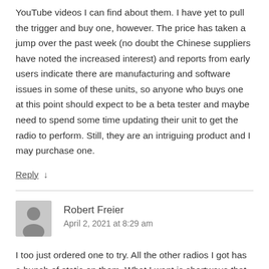YouTube videos I can find about them. I have yet to pull the trigger and buy one, however. The price has taken a jump over the past week (no doubt the Chinese suppliers have noted the increased interest) and reports from early users indicate there are manufacturing and software issues in some of these units, so anyone who buys one at this point should expect to be a beta tester and maybe need to spend some time updating their unit to get the radio to perform. Still, they are an intriguing product and I may purchase one.
Reply ↓
Robert Freier
April 2, 2021 at 8:29 am
I too just ordered one to try. All the other radios I got has a bunch of static on them. What I want is shortwave that picks